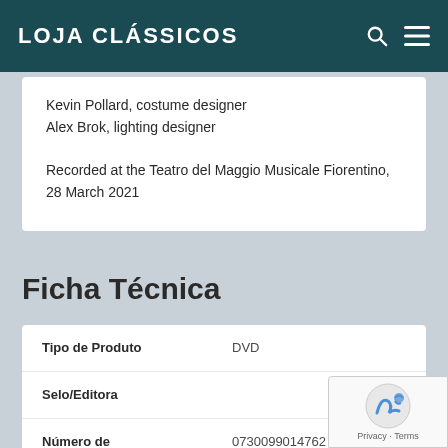LOJA CLÁSSICOS
Kevin Pollard, costume designer
Alex Brok, lighting designer

Recorded at the Teatro del Maggio Musicale Fiorentino, 28 March 2021
Ficha Técnica
| Label | Value |
| --- | --- |
| Tipo de Produto | DVD |
| Selo/Editora |  |
| Número de Catálogo/ISBN | 0730099014762 |